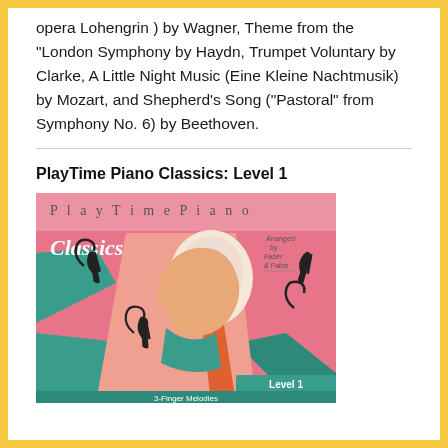opera Lohengrin ) by Wagner, Theme from the "London Symphony by Haydn, Trumpet Voluntary by Clarke, A Little Night Music (Eine Kleine Nachtmusik) by Mozart, and Shepherd's Song (“Pastoral” from Symphony No. 6) by Beethoven.
PlayTime Piano Classics: Level 1
[Figure (illustration): Book cover for PlayTime Piano Classics Level 1, arranged by Faber & Faber. Pink background with stylized art nouveau illustration of a figure in profile with decorative musical motifs, teal/green accents. Text at bottom reads 'Level 1' and '3-Finger Melodies'.]